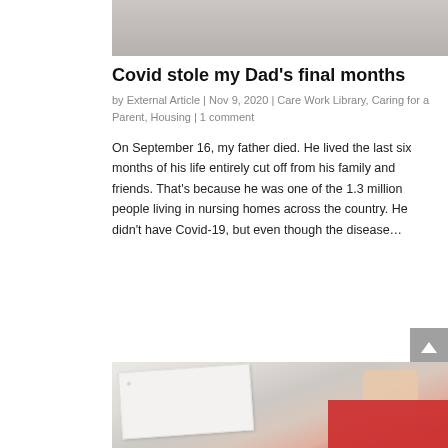[Figure (photo): Top portion of a photo, appears to show a light-colored surface with dark spots, partially cropped]
Covid stole my Dad’s final months
by External Article | Nov 9, 2020 | Care Work Library, Caring for a Parent, Housing | 1 comment
On September 16, my father died. He lived the last six months of his life entirely cut off from his family and friends. That’s because he was one of the 1.3 million people living in nursing homes across the country. He didn’t have Covid-19, but even though the disease…
[Figure (photo): Photo of hands inserting what appears to be a ballot or envelope into a mail slot or box, with red and white colors visible]